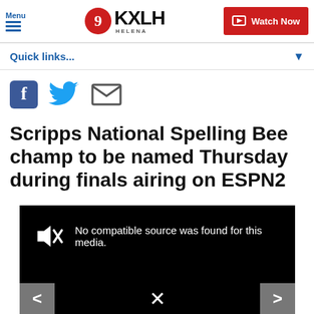Menu | 9 KXLH HELENA | Watch Now
Quick links...
[Figure (infographic): Social sharing icons: Facebook, Twitter (bird), Email envelope]
Scripps National Spelling Bee champ to be named Thursday during finals airing on ESPN2
[Figure (screenshot): Black video player with muted speaker icon and text: No compatible source was found for this media. Navigation arrows left and right, X close button.]